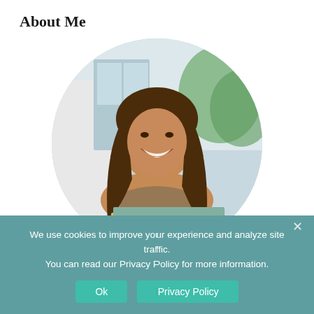About Me
[Figure (photo): Circular profile photo of a smiling woman with long brown hair holding a stack of books, including 'The Secret Place' by Tana French.]
We use cookies to improve your experience and analyze site traffic. You can read our Privacy Policy for more information.
Ok | Privacy Policy